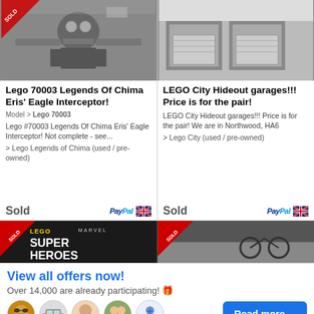[Figure (photo): Black and white photo of LEGO 70003 Legends of Chima Eris Eagle Interceptor set]
Lego 70003 Legends Of Chima Eris' Eagle Interceptor!
Model > Lego 70003
Lego #70003 Legends Of Chima Eris' Eagle Interceptor! Not complete - see...
> Lego Legends of Chima (used / pre-owned)
Sold
[Figure (photo): Black and white photo of LEGO City Hideout garages set]
LEGO City Hideout garages!!! Price is for the pair!
LEGO City Hideout garages!!! Price is for the pair! We are in Northwood, HA6
> Lego City (used / pre-owned)
Sold
[Figure (photo): LEGO Marvel Super Heroes banner with red ribbon]
[Figure (photo): LEGO product image with sold ribbon]
View all offers now!
Over 14,000 are already participating! 🎁
Read more ...